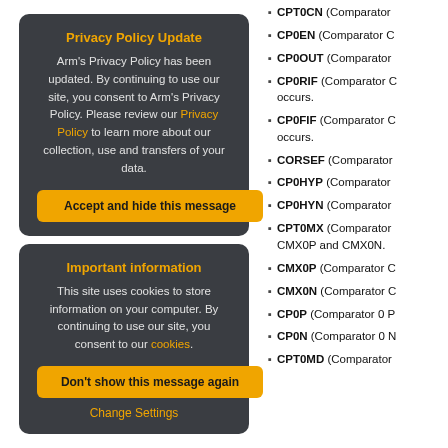Privacy Policy Update
Arm's Privacy Policy has been updated. By continuing to use our site, you consent to Arm's Privacy Policy. Please review our Privacy Policy to learn more about our collection, use and transfers of your data.
[Accept and hide this message]
Important information
This site uses cookies to store information on your computer. By continuing to use our site, you consent to our cookies.
[Don't show this message again]
Change Settings
CPT0CN (Comparator...
CP0EN (Comparator C...
CP0OUT (Comparator...
CP0RIF (Comparator C... occurs.
CP0FIF (Comparator C... occurs.
CORSEF (Comparator...
CP0HYP (Comparator...
CP0HYN (Comparator...
CPT0MX (Comparator... CMX0P and CMX0N.
CMX0P (Comparator C...
CMX0N (Comparator C...
CP0P (Comparator 0 P...
CP0N (Comparator 0 N...
CPT0MD (Comparator...